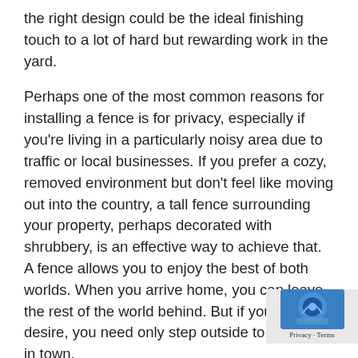the right design could be the ideal finishing touch to a lot of hard but rewarding work in the yard.
Perhaps one of the most common reasons for installing a fence is for privacy, especially if you're living in a particularly noisy area due to traffic or local businesses. If you prefer a cozy, removed environment but don't feel like moving out into the country, a tall fence surrounding your property, perhaps decorated with shrubbery, is an effective way to achieve that. A fence allows you to enjoy the best of both worlds. When you arrive home, you can leave the rest of the world behind. But if you so desire, you need only step outside to be back in town.
We install fences not only for homes but also for businesses. We have experience with all materials and all styles. We have been in business for years, giving us the expertise to ensure that your property will be more valuable, safer, and more beautiful than it was before.
[Figure (other): reCAPTCHA privacy badge overlay in bottom-right corner]